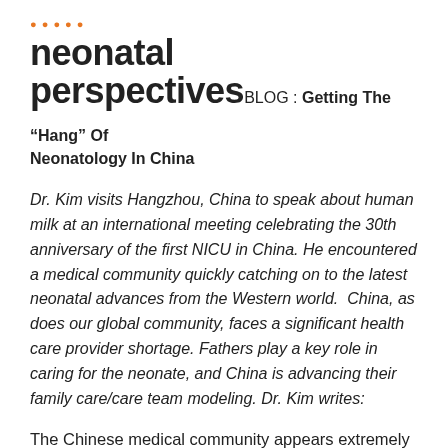neonatal perspectives
neonatal perspectives BLOG : Getting The “Hang” Of Neonatology In China
Dr. Kim visits Hangzhou, China to speak about human milk at an international meeting celebrating the 30th anniversary of the first NICU in China. He encountered a medical community quickly catching on to the latest neonatal advances from the Western world.  China, as does our global community, faces a significant health care provider shortage. Fathers play a key role in caring for the neonate, and China is advancing their family care/care team modeling. Dr. Kim writes:
The Chinese medical community appears extremely avid to catch on to the latest neonatal advances from the